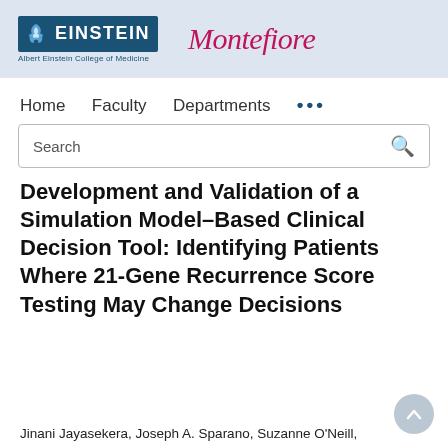[Figure (logo): Albert Einstein College of Medicine and Montefiore institutional logos on a light blue header bar]
Home   Faculty   Departments   ...
Search
Development and Validation of a Simulation Model–Based Clinical Decision Tool: Identifying Patients Where 21-Gene Recurrence Score Testing May Change Decisions
Jinani Jayasekera, Joseph A. Sparano, Suzanne O'Neill,